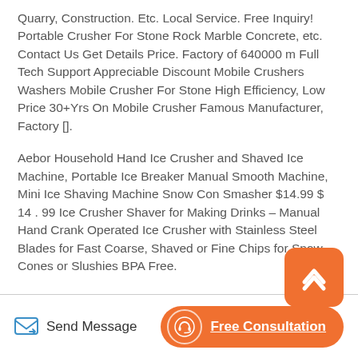Quarry, Construction. Etc. Local Service. Free Inquiry! Portable Crusher For Stone Rock Marble Concrete, etc. Contact Us Get Details Price. Factory of 640000 m Full Tech Support Appreciable Discount Mobile Crushers Washers Mobile Crusher For Stone High Efficiency, Low Price 30+Yrs On Mobile Crusher Famous Manufacturer, Factory [].
Aebor Household Hand Ice Crusher and Shaved Ice Machine, Portable Ice Breaker Manual Smooth Machine, Mini Ice Shaving Machine Snow Con Smasher $14.99 $ 14 . 99 Ice Crusher Shaver for Making Drinks – Manual Hand Crank Operated Ice Crusher with Stainless Steel Blades for Fast Coarse, Shaved or Fine Chips for Snow Cones or Slushies BPA Free.
[Figure (other): Orange rounded square button with white upward-pointing chevron/arrow icon for scrolling to top]
Send Message   Free Consultation